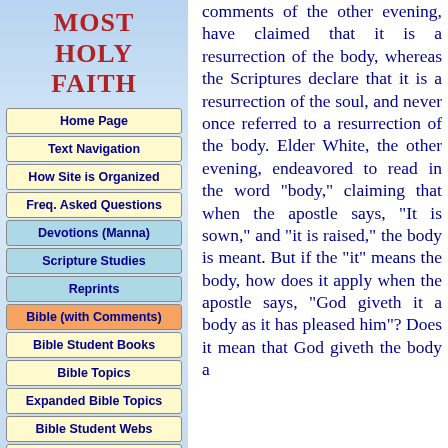MOST HOLY FAITH
Home Page
Text Navigation
How Site is Organized
Freq. Asked Questions
Devotions (Manna)
Scripture Studies
Reprints
Bible (with Comments)
Bible Student Books
Bible Topics
Expanded Bible Topics
Bible Student Webs
Miscellaneous
comments of the other evening, have claimed that it is a resurrection of the body, whereas the Scriptures declare that it is a resurrection of the soul, and never once referred to a resurrection of the body. Elder White, the other evening, endeavored to read in the word "body," claiming that when the apostle says, "It is sown," and "it is raised," the body is meant. But if the "it" means the body, how does it apply when the apostle says, "God giveth it a body as it has pleased him"? Does it mean that God giveth the body a